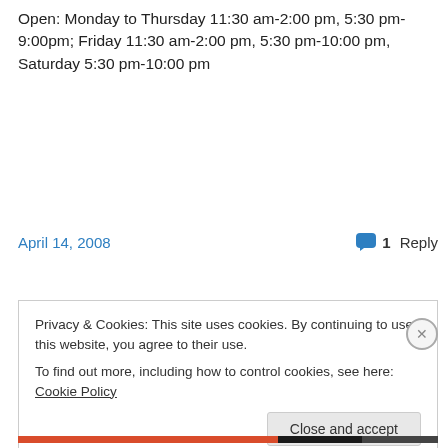Open: Monday to Thursday 11:30 am-2:00 pm, 5:30 pm-9:00pm; Friday 11:30 am-2:00 pm, 5:30 pm-10:00 pm, Saturday 5:30 pm-10:00 pm
April 14, 2008   1 Reply
Privacy & Cookies: This site uses cookies. By continuing to use this website, you agree to their use.
To find out more, including how to control cookies, see here: Cookie Policy